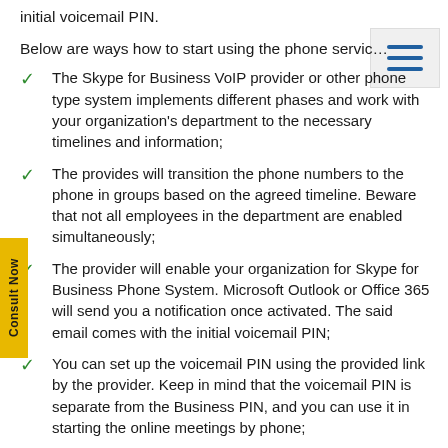initial voicemail PIN.
Below are ways how to start using the phone servic…
The Skype for Business VoIP provider or other phone type system implements different phases and work with your organization's department to the necessary timelines and information;
The provides will transition the phone numbers to the phone in groups based on the agreed timeline. Beware that not all employees in the department are enabled simultaneously;
The provider will enable your organization for Skype for Business Phone System. Microsoft Outlook or Office 365 will send you a notification once activated. The said email comes with the initial voicemail PIN;
You can set up the voicemail PIN using the provided link by the provider. Keep in mind that the voicemail PIN is separate from the Business PIN, and you can use it in starting the online meetings by phone;
If you plan to order a Skype for Business-enabled phone set, it